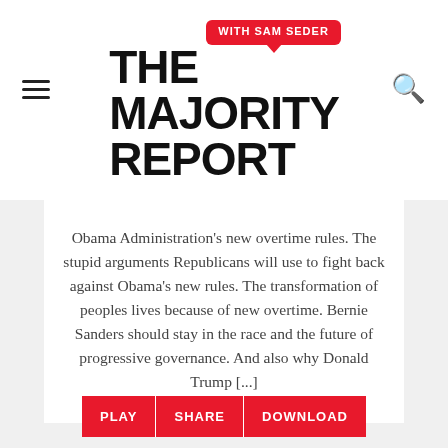THE MAJORITY REPORT WITH SAM SEDER
Obama Administration’s new overtime rules. The stupid arguments Republicans will use to fight back against Obama’s new rules. The transformation of peoples lives because of new overtime. Bernie Sanders should stay in the race and the future of progressive governance. And also why Donald Trump […]
[Figure (other): Three red buttons labeled PLAY, SHARE, DOWNLOAD]
Barack Obama
Benghazi
Bernie Sanders
Cliff Schecter
Hillary Clinton
Isabel Gillies